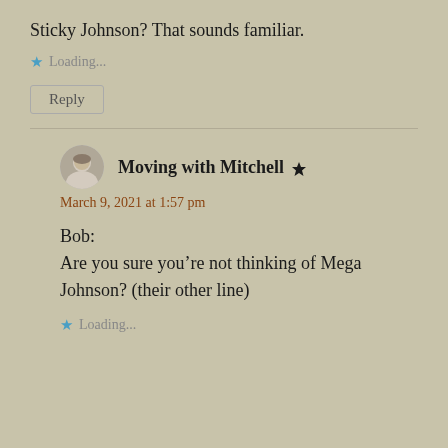Sticky Johnson? That sounds familiar.
Loading...
Reply
Moving with Mitchell
March 9, 2021 at 1:57 pm
Bob:
Are you sure you’re not thinking of Mega Johnson? (their other line)
Loading...